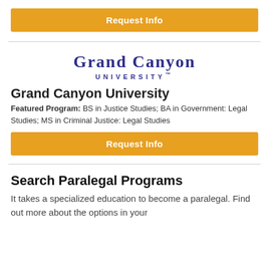[Figure (other): Orange 'Request Info' button at top]
[Figure (logo): Grand Canyon University logo with purple text]
Grand Canyon University
Featured Program: BS in Justice Studies; BA in Government: Legal Studies; MS in Criminal Justice: Legal Studies
[Figure (other): Orange 'Request Info' button in middle]
Search Paralegal Programs
It takes a specialized education to become a paralegal. Find out more about the options in your